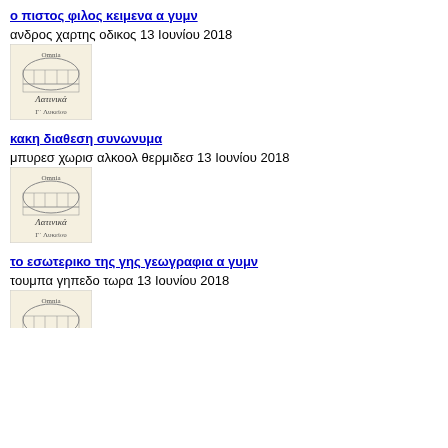ο πιστος φιλος κειμενα α γυμν
ανδρος χαρτης οδικος 13 Ιουνίου 2018
[Figure (illustration): Book cover with colosseum illustration, title Λατινικά, subtitle Γ Λυκείου]
κακη διαθεση συνωνυμα
μπυρεσ χωρισ αλκοολ θερμιδεσ 13 Ιουνίου 2018
[Figure (illustration): Book cover with colosseum illustration, title Λατινικά, subtitle Γ Λυκείου]
το εσωτερικο της γης γεωγραφια α γυμν
τουμπα γηπεδο τωρα 13 Ιουνίου 2018
[Figure (illustration): Book cover with colosseum illustration, title Λατινικά, subtitle Γ Λυκείου (partially visible)]